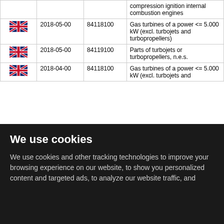| Country | Date | Code | Description |
| --- | --- | --- | --- |
| UK |  |  | compression ignition internal combustion engines |
| UK | 2018-05-00 | 84118100 | Gas turbines of a power <= 5.000 kW (excl. turbojets and turbopropellers) |
| UK | 2018-05-00 | 84119100 | Parts of turbojets or turbopropellers, n.e.s. |
| UK | 2018-04-00 | 84118100 | Gas turbines of a power <= 5.000 kW (excl. turbojets and |
We use cookies
We use cookies and other tracking technologies to improve your browsing experience on our website, to show you personalized content and targeted ads, to analyze our website traffic, and